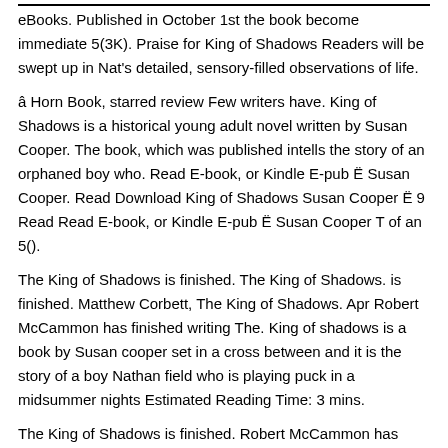eBooks. Published in October 1st the book become immediate 5(3K). Praise for King of Shadows Readers will be swept up in Nat's detailed, sensory-filled observations of life.
â Horn Book, starred review Few writers have. King of Shadows is a historical young adult novel written by Susan Cooper. The book, which was published intells the story of an orphaned boy who. Read E-book, or Kindle E-pub Ë Susan Cooper. Read Download King of Shadows Susan Cooper Ë 9 Read Read E-book, or Kindle E-pub Ë Susan Cooper T of an 5().
The King of Shadows is finished. The King of Shadows. is finished. Matthew Corbett, The King of Shadows. Apr Robert McCammon has finished writing The. King of shadows is a book by Susan cooper set in a cross between and it is the story of a boy Nathan field who is playing puck in a midsummer nights Estimated Reading Time: 3 mins.
The King of Shadows is finished. Robert McCammon has finished writing The King of Shadows. He literally just finished it on Tuesday, so its way too soon to know.